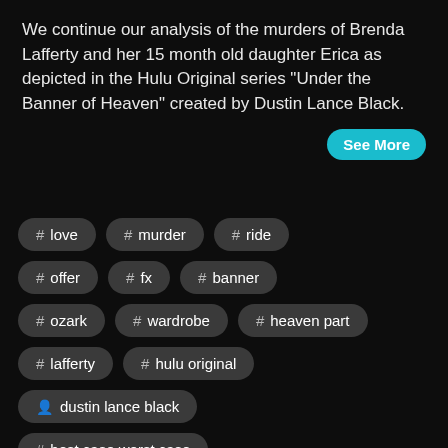We continue our analysis of the murders of Brenda Lafferty and her 15 month old daughter Erica as depicted in the Hulu Original series "Under the Banner of Heaven" created by Dustin Lance Black.
# love
# murder
# ride
# offer
# fx
# banner
# ozark
# wardrobe
# heaven part
# lafferty
# hulu original
dustin lance black
# best case worst case